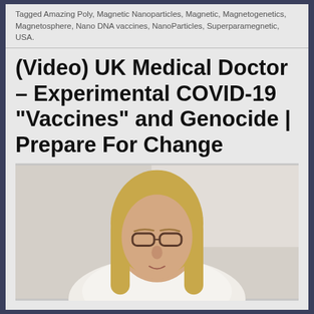Tagged Amazing Poly, Magnetic Nanoparticles, Magnetic, Magnetogenetics, Magnetosphere, Nano DNA vaccines, NanoParticles, Superparamegnetic, USA.
(Video) UK Medical Doctor – Experimental COVID-19 "Vaccines" and Genocide | Prepare For Change
[Figure (photo): Video screenshot of a blonde woman with glasses wearing a white top, speaking to camera against a light background.]